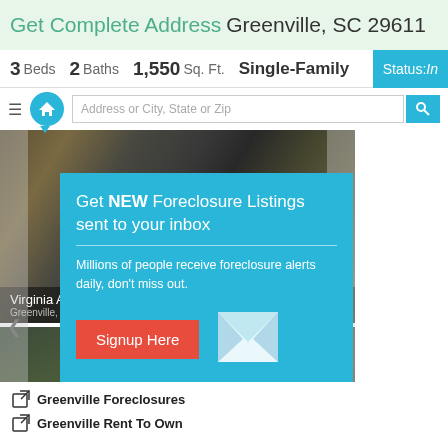Get Complete Address Greenville, SC 29611
3 Beds  2 Baths  1,550 Sq. Ft.  Single-Family  Status: In
[Figure (screenshot): Aerial view photos of properties on Virginia Ave and Maryland Ave, Greenville SC 29611, with navigation arrows and search bar overlay]
[Figure (infographic): Popup modal with blue background: 'Get NEW Foreclosure Listings sent to your inbox'. Includes description text, Signup Here red button, envelope icon, and 'No Thanks | Remind Me Later' links.]
Greenville Foreclosures
Greenville Rent To Own